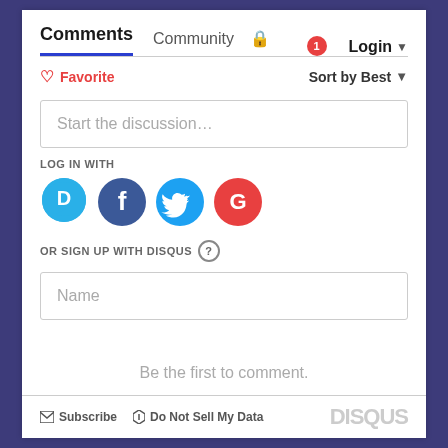Comments  Community  Login
♡ Favorite    Sort by Best
Start the discussion…
LOG IN WITH
[Figure (logo): Row of social login icons: Disqus (blue speech bubble with D), Facebook (dark blue circle with f), Twitter (light blue circle with bird), Google (red circle with G)]
OR SIGN UP WITH DISQUS ?
Name
Be the first to comment.
Subscribe  Do Not Sell My Data  DISQUS